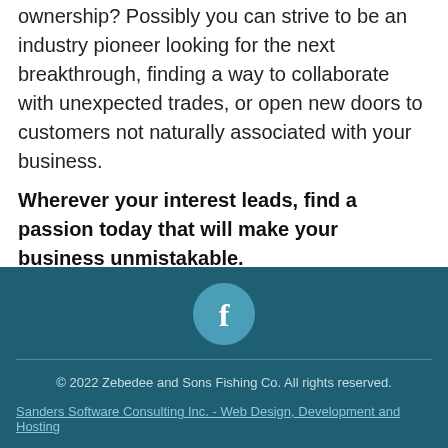ownership? Possibly you can strive to be an industry pioneer looking for the next breakthrough, finding a way to collaborate with unexpected trades, or open new doors to customers not naturally associated with your business.
Wherever your interest leads, find a passion today that will make your business unmistakable.
[Figure (illustration): Facebook social media icon — a circular teal/light-blue button with a white letter f in the center]
© 2022 Zebedee and Sons Fishing Co. All rights reserved.
Sanders Software Consulting Inc. - Web Design, Development and Hosting